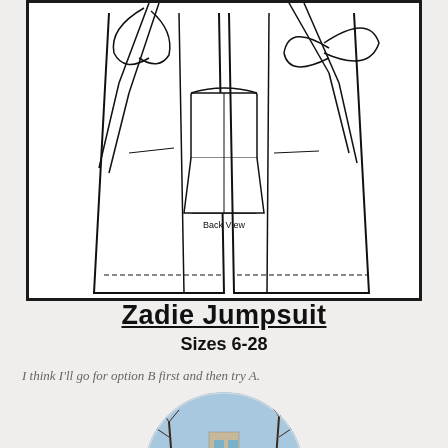[Figure (illustration): Technical sewing pattern illustration showing back view of Zadie Jumpsuit with two wide-leg views and a small center back view labeled 'Back View'. Garments feature bow/tie details at shoulders and dashed hem lines.]
Zadie Jumpsuit
Sizes 6-28
I think I'll go for option B first and then try A.
[Figure (photo): Circular cropped photo showing outdoor winter scene with bare trees and a building in the background under a blue sky.]